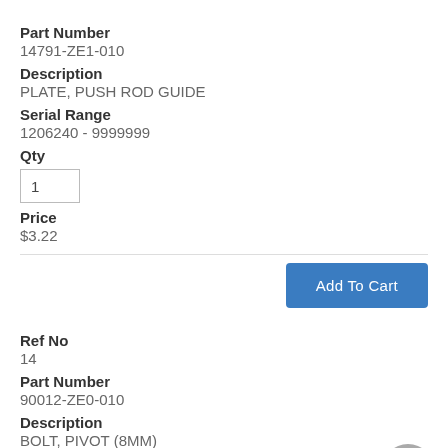Part Number
14791-ZE1-010
Description
PLATE, PUSH ROD GUIDE
Serial Range
1206240 - 9999999
Qty
1
Price
$3.22
Add To Cart
Ref No
14
Part Number
90012-ZE0-010
Description
BOLT, PIVOT (8MM)
Serial Range
1180253 - 9999999